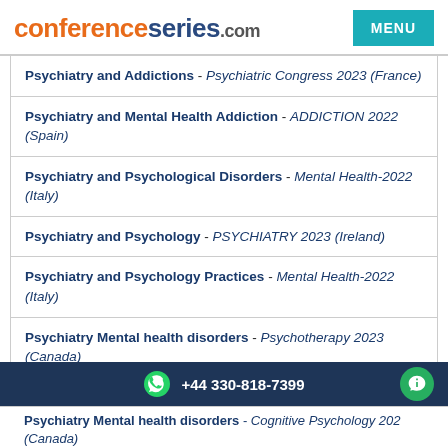conferenceseries.com
Psychiatry and Addictions - Psychiatric Congress 2023 (France)
Psychiatry and Mental Health Addiction - ADDICTION 2022 (Spain)
Psychiatry and Psychological Disorders - Mental Health-2022 (Italy)
Psychiatry and Psychology - PSYCHIATRY 2023 (Ireland)
Psychiatry and Psychology Practices - Mental Health-2022 (Italy)
Psychiatry Mental health disorders - Psychotherapy 2023 (Canada)
+44 330-818-7399
Psychiatry Mental health disorders - Cognitive Psychology 202 (Canada)